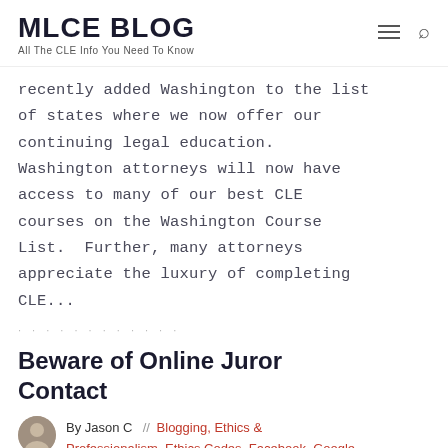MLCE BLOG
All The CLE Info You Need To Know
recently added Washington to the list of states where we now offer our continuing legal education. Washington attorneys will now have access to many of our best CLE courses on the Washington Course List. Further, many attorneys appreciate the luxury of completing CLE...
Beware of Online Juror Contact
By Jason C // Blogging, Ethics & Professionalism, Ethics Codes, Facebook, Google, Jury, Law & Technology, Legal Research, Social Media, Twitter, Voir Dire — July 3, 2012